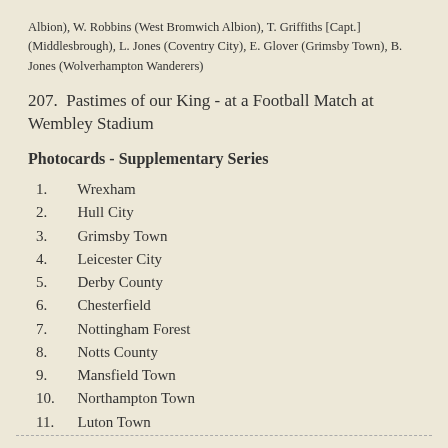Albion), W. Robbins (West Bromwich Albion), T. Griffiths [Capt.] (Middlesbrough), L. Jones (Coventry City), E. Glover (Grimsby Town), B. Jones (Wolverhampton Wanderers)
207.  Pastimes of our King - at a Football Match at Wembley Stadium
Photocards - Supplementary Series
1.  Wrexham
2.  Hull City
3.  Grimsby Town
4.  Leicester City
5.  Derby County
6.  Chesterfield
7.  Nottingham Forest
8.  Notts County
9.  Mansfield Town
10.  Northampton Town
11.  Luton Town
- - - - - - - - - - - - - - - - - - - - - - - - - - - - - - - - - - - - - - - - - - - - - - - - - - - - - -